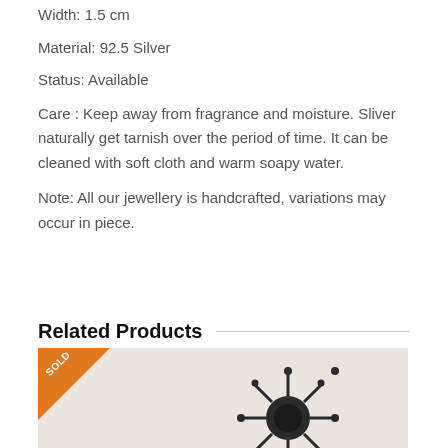Width: 1.5 cm
Material: 92.5 Silver
Status: Available
Care : Keep away from fragrance and moisture. Sliver naturally get tarnish over the period of time. It can be cleaned with soft cloth and warm soapy water.
Note: All our jewellery is handcrafted, variations may occur in piece.
Related Products
[Figure (photo): Product image with SOLD badge overlay showing a dark jewellery piece on a beige background]